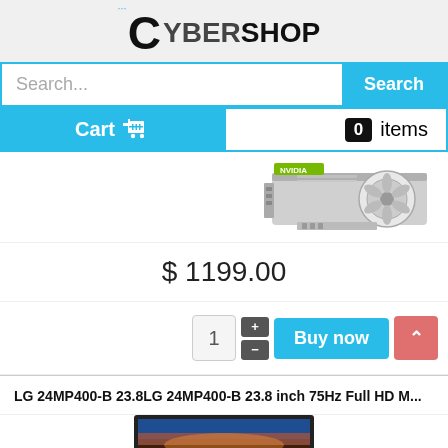CYBERSHOP
Search...
Search
Cart  0 items
[Figure (photo): GPU / graphics card product image, silver and white cooling shroud with fan, partial view]
$ 1199.00
1 + - Buy now
LG 24MP400-B 23.8LG 24MP400-B 23.8 inch 75Hz Full HD M...
[Figure (photo): LG 24MP400-B monitor product image, partial view showing screen with landscape wallpaper]